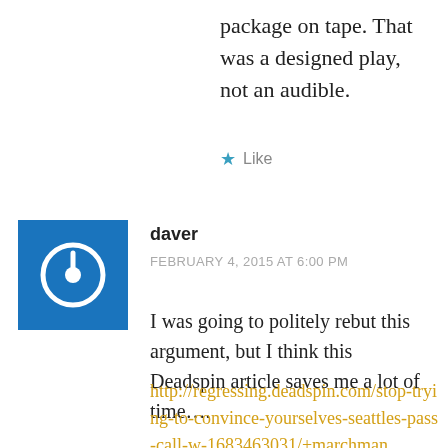package on tape. That was a designed play, not an audible.
★ Like
daver
FEBRUARY 4, 2015 AT 6:00 PM
I was going to politely rebut this argument, but I think this Deadspin article saves me a lot of time….
http://regressing.deadspin.com/stop-trying-to-convince-yourselves-seattles-pass-call-w-1683463031/+marchman